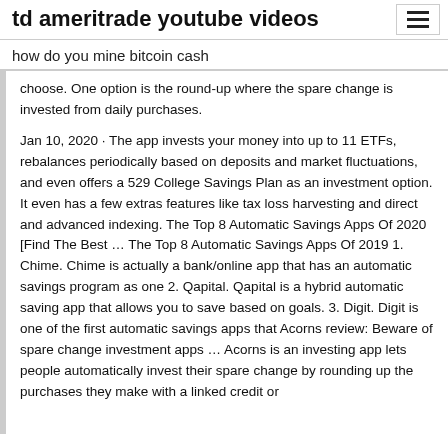td ameritrade youtube videos
how do you mine bitcoin cash
choose. One option is the round-up where the spare change is invested from daily purchases.
Jan 10, 2020 · The app invests your money into up to 11 ETFs, rebalances periodically based on deposits and market fluctuations, and even offers a 529 College Savings Plan as an investment option. It even has a few extras features like tax loss harvesting and direct and advanced indexing. The Top 8 Automatic Savings Apps Of 2020 [Find The Best … The Top 8 Automatic Savings Apps Of 2019 1. Chime. Chime is actually a bank/online app that has an automatic savings program as one 2. Qapital. Qapital is a hybrid automatic saving app that allows you to save based on goals. 3. Digit. Digit is one of the first automatic savings apps that Acorns review: Beware of spare change investment apps … Acorns is an investing app lets people automatically invest their spare change by rounding up the purchases they make with a linked credit or